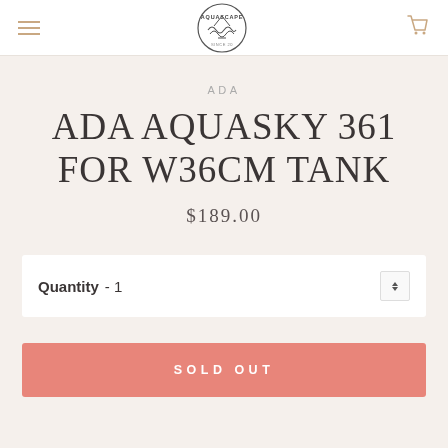AQUASCAPE (logo navigation bar)
ADA
ADA AQUASKY 361 FOR W36CM TANK
$189.00
Quantity  -  1
SOLD OUT